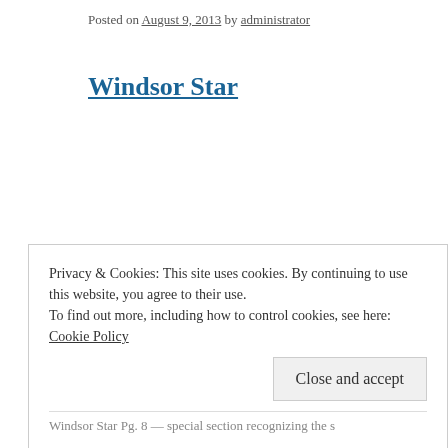Posted on August 9, 2013 by administrator
Windsor Star
[Figure (photo): Broken image placeholder for Windsor Star supplement 1812 article]
The Windsor Star supplement 1812: The War That Defined Us staged throughout the area during the celebration but also the hi it changed this region's relationship with the United States. The Windsor Star supplement 1812: The War That Defined Us c throughout the area during the celebration but also the history su changed this region's relationship with the United States.
Privacy & Cookies: This site uses cookies. By continuing to use this website, you agree to their use.
To find out more, including how to control cookies, see here: Cookie Policy
Close and accept
Windsor Star Pg. 8 — special section recognizing the s